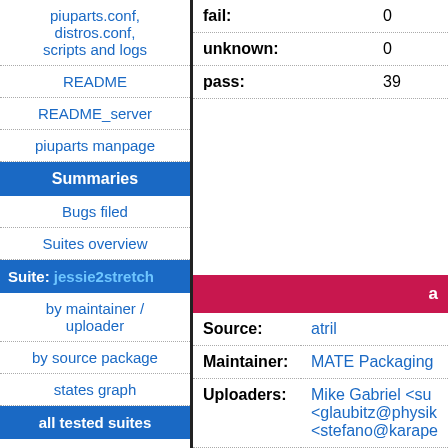piuparts.conf, distros.conf, scripts and logs
README
README_server
piuparts manpage
Summaries
Bugs filed
Suites overview
Suite: jessie2stretch
by maintainer / uploader
by source package
states graph
all tested suites
experimental
sid2experimental
sid
sid-strict
| Field | Value |
| --- | --- |
| fail: | 0 |
| unknown: | 0 |
| pass: | 39 |
a
| Field | Value |
| --- | --- |
| Source: | atril |
| Maintainer: | MATE Packaging |
| Uploaders: | Mike Gabriel <su...  <glaubitz@physik...  <stefano@karape... |